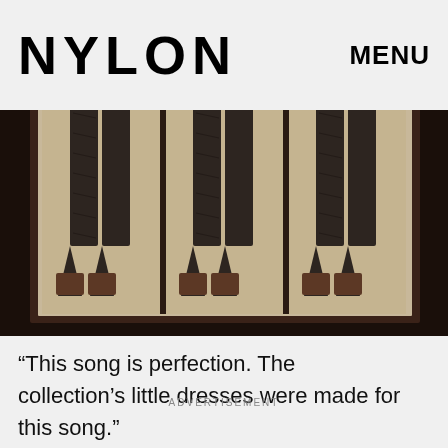NYLON  MENU
[Figure (photo): Three framed panels showing the lower body of a person in dark sequined or patterned flared trousers and brown boots, displayed against a beige background with dark border framing]
“This song is perfection. The collection’s little dresses were made for this song.”
ADVERTISEMENT